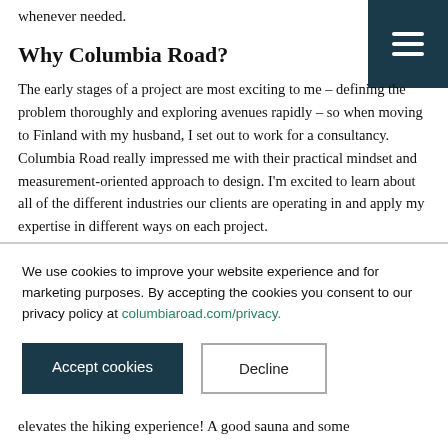whenever needed.
Why Columbia Road?
The early stages of a project are most exciting to me – defining the problem thoroughly and exploring avenues rapidly – so when moving to Finland with my husband, I set out to work for a consultancy. Columbia Road really impressed me with their practical mindset and measurement-oriented approach to design. I'm excited to learn about all of the different industries our clients are operating in and apply my expertise in different ways on each project.
What makes your heart beat a little
We use cookies to improve your website experience and for marketing purposes. By accepting the cookies you consent to our privacy policy at columbiaroad.com/privacy.
Accept cookies
Decline
elevates the hiking experience! A good sauna and some